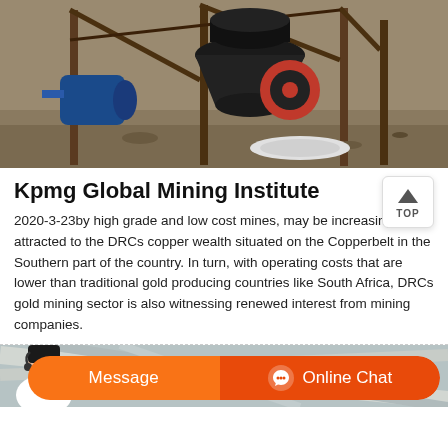[Figure (photo): Photo of mining equipment — a red and black cone crusher mounted on metal scaffolding in an outdoor dirt setting, with a blue electric motor visible on the left side.]
Kpmg Global Mining Institute
2020-3-23by high grade and low cost mines, may be increasingly attracted to the DRCs copper wealth situated on the Copperbelt in the Southern part of the country. In turn, with operating costs that are lower than traditional gold producing countries like South Africa, DRCs gold mining sector is also witnessing renewed interest from mining companies.
[Figure (photo): Partial photo of what appears to be industrial metal cables or pipes shown at the bottom of the page, partially covered by the chat bar.]